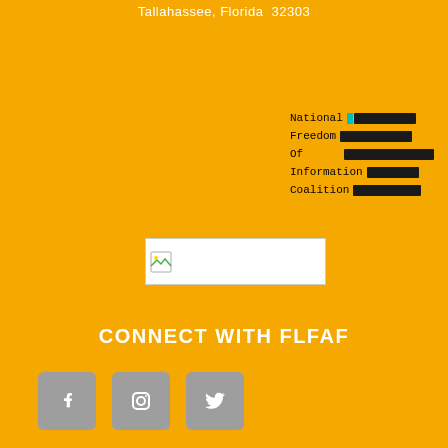Tallahassee, Florida  32303
[Figure (other): Redacted document block showing 'National [REDACTED] Freedom [REDACTED] Of [REDACTED] Information [REDACTED] Coalition [REDACTED]' with black redaction bars and cyan highlights]
[Figure (other): Broken image placeholder (white rectangle with image icon)]
CONNECT WITH FLFAF
[Figure (other): Social media icons: Facebook, Instagram, Twitter on grey rounded square backgrounds]